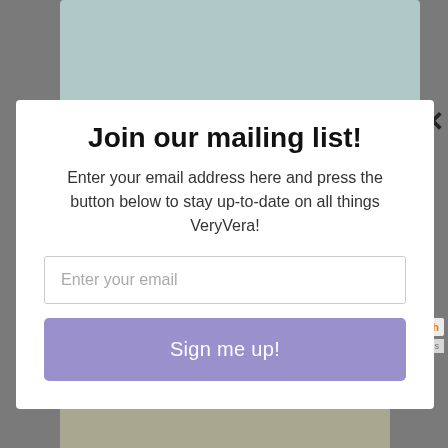[Figure (screenshot): Background of a webpage with blurred/darkened overlay and partial food/lifestyle photos visible behind a modal popup]
Join our mailing list!
Enter your email address here and press the button below to stay up-to-date on all things VeryVera!
Enter your email
Sign me up!
powered by MailMunch
Privacy · Terms